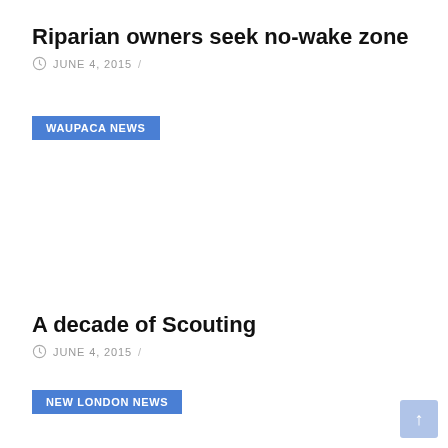Riparian owners seek no-wake zone
JUNE 4, 2015 /
WAUPACA NEWS
A decade of Scouting
JUNE 4, 2015 /
NEW LONDON NEWS